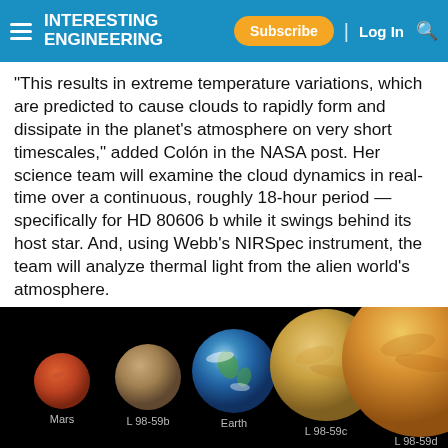INTERESTING ENGINEERING — Subscribe | Log In
"This results in extreme temperature variations, which are predicted to cause clouds to rapidly form and dissipate in the planet's atmosphere on very short timescales," added Colón in the NASA post. Her science team will examine the cloud dynamics in real-time over a continuous, roughly 18-hour period — specifically for HD 80606 b while it swings behind its host star. And, using Webb's NIRSpec instrument, the team will analyze thermal light from the alien world's atmosphere.
[Figure (illustration): Size comparison of five planets against a black background: Mars (small, red), L 98-59b (small, brown-grey), Earth (medium, blue with white clouds), L 98-59c (larger, golden-tan), and L 98-59d (largest, golden-orange). Labels below each planet identify them.]